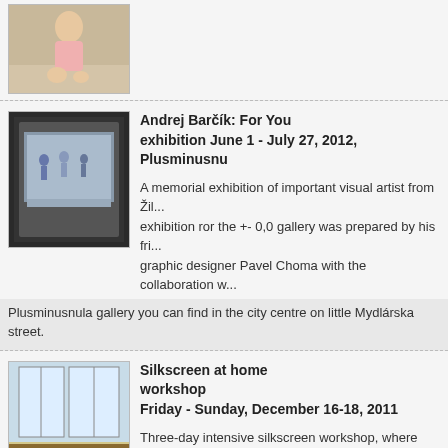[Figure (photo): Photo of a young child sitting on a floor in a pink outfit]
Andrej Barčík: For You
exhibition June 1 - July 27, 2012, Plusminusnu
A memorial exhibition of important visual artist from Žil... exhibition ror the +- 0,0 gallery was prepared by his fri... graphic designer Pavel Choma with the collaboration w...
[Figure (photo): Photo of an art gallery interior showing a screen/monitor display with people visible]
Plusminusnula gallery you can find in the city centre on little Mydlárska street.
[Figure (photo): Photo of silkscreen prints/publications displayed on a surface near windows]
Silkscreen at home
workshop
Friday - Sunday, December 16-18, 2011
Three-day intensive silkscreen workshop, where you´l... that hard to make on your own, at your home. We´ll in... established in Stanica, and we´ll show you many simple tricks, and ways, how... time, we will [...]